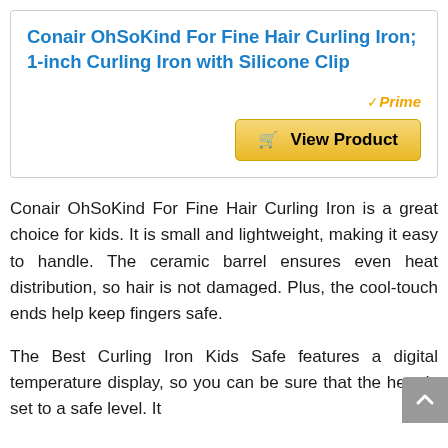Conair OhSoKind For Fine Hair Curling Iron; 1-inch Curling Iron with Silicone Clip
[Figure (other): Amazon Prime badge and View Product button]
Conair OhSoKind For Fine Hair Curling Iron is a great choice for kids. It is small and lightweight, making it easy to handle. The ceramic barrel ensures even heat distribution, so hair is not damaged. Plus, the cool-touch ends help keep fingers safe.
The Best Curling Iron Kids Safe features a digital temperature display, so you can be sure that the heat is set to a safe level. It